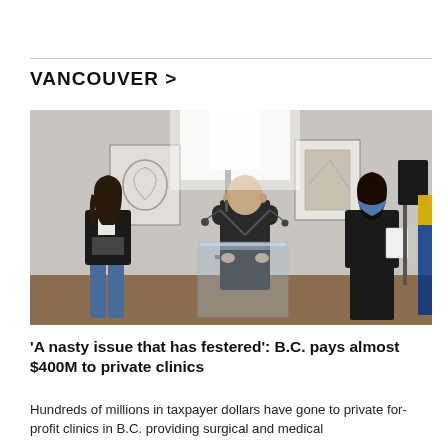VANCOUVER >
[Figure (photo): A man in a dark suit speaks at a clear podium/lectern. A woman in a blazer and jeans stands to his left. Another woman wearing a blue face mask stands to his right holding papers. Bright studio light in background, artwork on wall behind.]
'A nasty issue that has festered': B.C. pays almost $400M to private clinics
Hundreds of millions in taxpayer dollars have gone to private for-profit clinics in B.C. providing surgical and medical